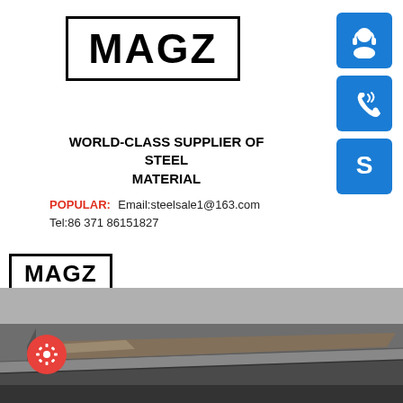[Figure (logo): MAGZ logo in bold text inside a rectangular border, centered top of page]
[Figure (illustration): Three blue rounded square icons on the right side: headset/customer support icon, phone with signal waves icon, Skype S icon]
WORLD-CLASS SUPPLIER OF STEEL MATERIAL
POPULAR:   Email:steelsale1@163.com
Tel:86 371 86151827
[Figure (logo): Small MAGZ logo in bold text inside a rectangular border, left side]
[Figure (photo): Photograph of stacked steel plates/sheets in grey and rust tones, industrial setting]
[Figure (illustration): Red circular button with a white gear/settings icon]